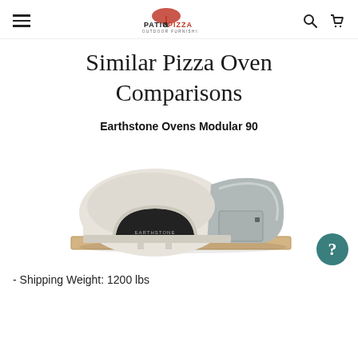Patio & Pizza Outdoor Furnishings — navigation header with hamburger menu, logo, search and cart icons
Similar Pizza Oven Comparisons
Earthstone Ovens Modular 90
[Figure (photo): Photo of the Earthstone Ovens Modular 90 pizza oven, a large modular wood-fired oven with a cream/beige stone exterior, arched opening, and wooden base platform. A help/question mark button appears at the bottom right.]
- Shipping Weight: 1200 lbs